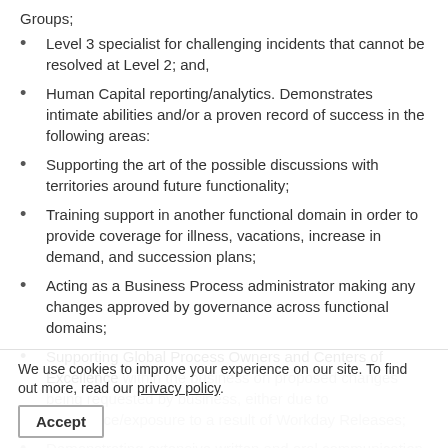Groups;
Level 3 specialist for challenging incidents that cannot be resolved at Level 2; and,
Human Capital reporting/analytics. Demonstrates intimate abilities and/or a proven record of success in the following areas:
Supporting the art of the possible discussions with territories around future functionality;
Training support in another functional domain in order to provide coverage for illness, vacations, increase in demand, and succession plans;
Acting as a Business Process administrator making any changes approved by governance across functional domains;
Supporting Global Process Owners and Centers of Excellence within the business on proposed changes being requested by business, either due to experience/exposure to a result of Workday Releases;
Demonstrating extensive written and oral communication skills;
Working in a fast paced Hi-tech environment;